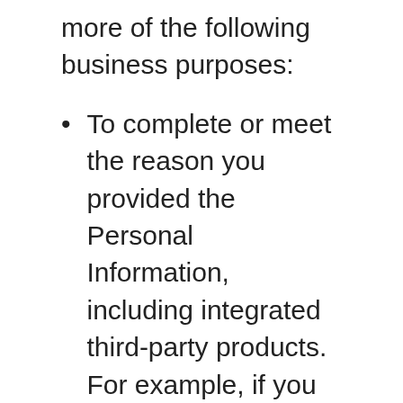more of the following business purposes:
To complete or meet the reason you provided the Personal Information, including integrated third-party products. For example, if you share your name and contact information to request a price quote or submit a query about other transactions, we will use that Personal Information to respond to your inquiry (automated or otherwise). If you provide your Personal Information to purchase a product or service, we will use that Personal